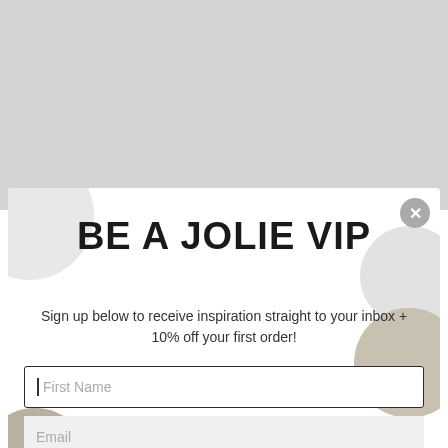[Figure (screenshot): Gray background area at top of page]
BE A JOLIE VIP
Sign up below to receive inspiration straight to your inbox + 10% off your first order!
[Figure (screenshot): Form fields: First Name input (focused with border), Email input, State / Region input]